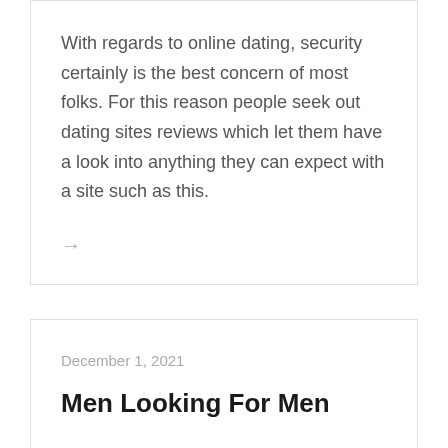With regards to online dating, security certainly is the best concern of most folks. For this reason people seek out dating sites reviews which let them have a look into anything they can expect with a site such as this.
→
December 1, 2021
Men Looking For Men